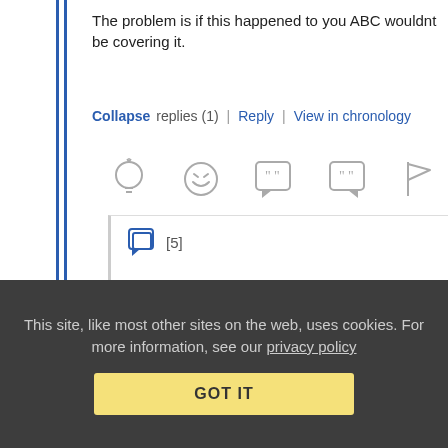The problem is if this happened to you ABC wouldnt be covering it.
Collapse replies (1) | Reply | View in chronology
[Figure (infographic): Row of comment action icons: lightbulb, laugh emoji, quote bubble open, quote bubble close, flag]
[Figure (infographic): Chat/reply icon with [5] indicator]
The eejit (profile)   January 23, 2012 at 2:51 pm
Re: Re: Re:2 Congressmen Should Get
This site, like most other sites on the web, uses cookies. For more information, see our privacy policy